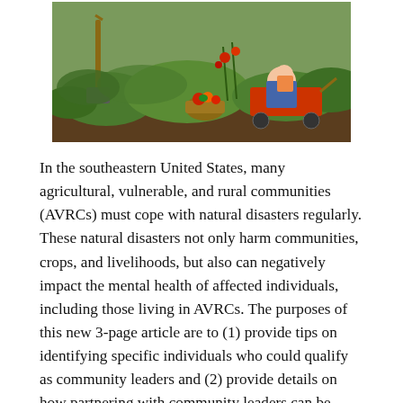[Figure (photo): Outdoor garden scene showing a person sitting on a red wagon with a child, surrounded by green plants and a basket of colorful vegetables including tomatoes and other produce. A shovel is visible in the background.]
In the southeastern United States, many agricultural, vulnerable, and rural communities (AVRCs) must cope with natural disasters regularly. These natural disasters not only harm communities, crops, and livelihoods, but also can negatively impact the mental health of affected individuals, including those living in AVRCs. The purposes of this new 3-page article are to (1) provide tips on identifying specific individuals who could qualify as community leaders and (2) provide details on how partnering with community leaders can be beneficial for mental health communication and outreach. Written by Lisa Lundy, Jacqueline Aenlle, Ricky Telg, Tracy Irani, Angie Lindsey, Ashley